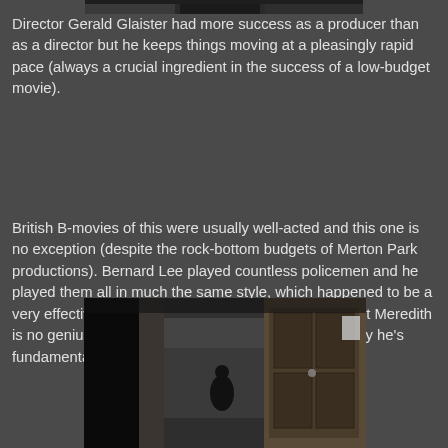[Figure (photo): Top portion of a black and white photograph, partially visible at the top of the page]
Director Gerald Glaister had more success as a producer than as a director but he keeps things moving at a pleasingly rapid pace (always a crucial ingredient in the success of a low-budget movie).
British B-movies of this were usually well-acted and this one is no exception (despite the rock-bottom budgets of Merton Park productions). Bernard Lee played countless policemen and he played them all in much the same style, which happened to be a very effective and very enjoyable style. Superintendent Meredith is no genius but he's dogged and while he's a bit crusty he's fundamentally decent.
[Figure (photo): Black and white photograph showing a dark alleyway or street scene with a silhouetted figure standing near brick walls and wooden doors]